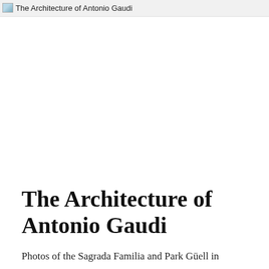The Architecture of Antonio Gaudi
The Architecture of Antonio Gaudi
Photos of the Sagrada Familia and Park Güell in